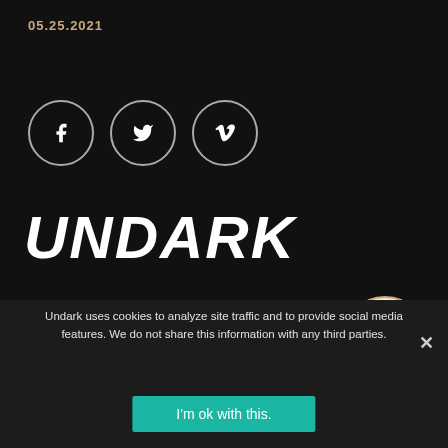05.25.2021
[Figure (logo): Three social media icons (Facebook, Twitter, Vimeo) in outlined white circles on dark background]
UNDARK
GET OUR NEWSLETTER
SENT WEEKLY
Undark uses cookies to analyze site traffic and to provide social media features. We do not share this information with any third parties.
I'm ok with this.